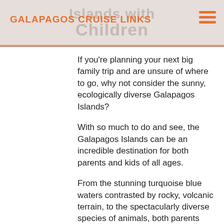GALAPAGOS CRUISE LINKS
If you're planning your next big family trip and are unsure of where to go, why not consider the sunny, ecologically diverse Galapagos Islands?
With so much to do and see, the Galapagos Islands can be an incredible destination for both parents and kids of all ages.
From the stunning turquoise blue waters contrasted by rocky, volcanic terrain, to the spectacularly diverse species of animals, both parents and children will fall in love with Galapagos, making the islands a